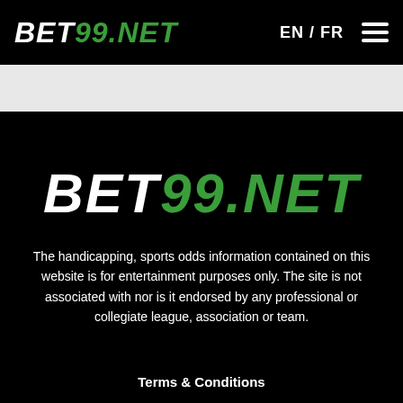BET99.NET  EN / FR  ☰
[Figure (logo): BET99.NET large white and green italic bold logo centered on black background]
The handicapping, sports odds information contained on this website is for entertainment purposes only. The site is not associated with nor is it endorsed by any professional or collegiate league, association or team.
Terms & Conditions